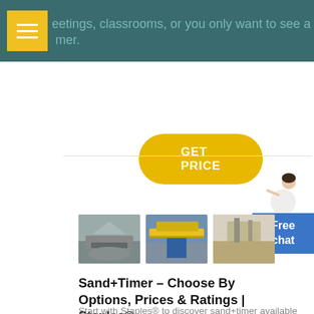meetings, classrooms, or you only want to see a timer.
GET PRICE
[Figure (photo): Three industrial mining/crushing equipment photos side by side]
Sand+Timer – Choose By Options, Prices & Ratings | Staples®
Start with Staples® to discover sand+timer available now. Browse by desired features, sand+timer on sale, prices and ratings.